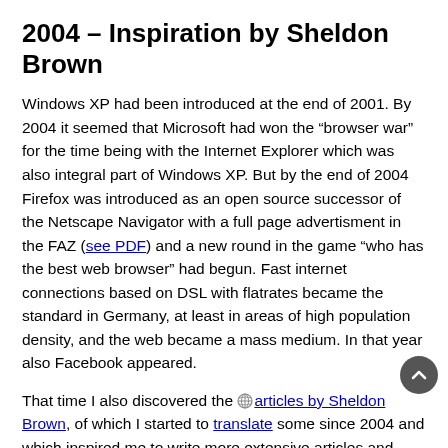2004 – Inspiration by Sheldon Brown
Windows XP had been introduced at the end of 2001. By 2004 it seemed that Microsoft had won the “browser war” for the time being with the Internet Explorer which was also integral part of Windows XP. But by the end of 2004 Firefox was introduced as an open source successor of the Netscape Navigator with a full page advertisment in the FAZ (see PDF) and a new round in the game “who has the best web browser” had begun. Fast internet connections based on DSL with flatrates became the standard in Germany, at least in areas of high population density, and the web became a mass medium. In that year also Facebook appeared.
That time I also discovered the articles by Sheldon Brown, of which I started to translate some since 2004 and which inspired me to write more extensive articles and